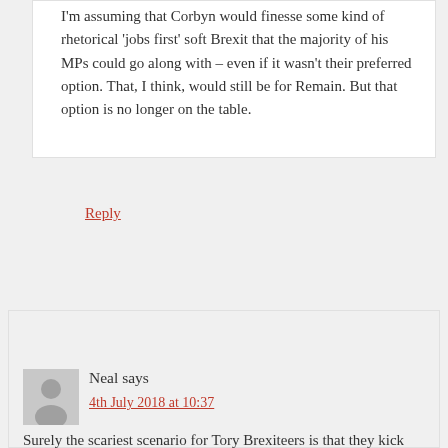I'm assuming that Corbyn would finesse some kind of rhetorical 'jobs first' soft Brexit that the majority of his MPs could go along with – even if it wasn't their preferred option. That, I think, would still be for Remain. But that option is no longer on the table.
Reply
Neal says
4th July 2018 at 10:37
Surely the scariest scenario for Tory Brexiteers is that they kick May out, leading to an